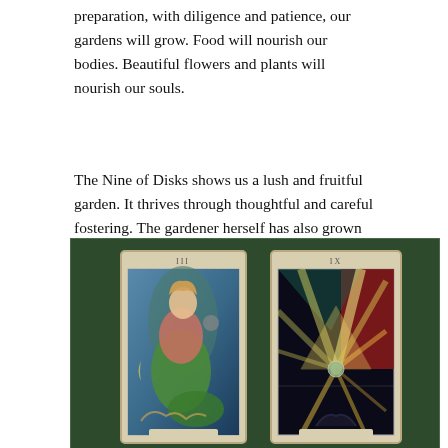preparation, with diligence and patience, our gardens will grow. Food will nourish our bodies. Beautiful flowers and plants will nourish our souls.
The Nine of Disks shows us a lush and fruitful garden. It thrives through thoughtful and careful fostering. The gardener herself has also grown in self-confidence, independence and wisdom.
[Figure (illustration): Two tarot cards side by side on a dark green background. Left card labeled 'III' shows the Empress figure, an artistic illustration with flowing green and warm tones, a feminine figure with plant and natural imagery. Right card labeled 'IX' shows an abstract geometric illustration with radiating light beams in yellows, oranges, and reds against a dark background.]